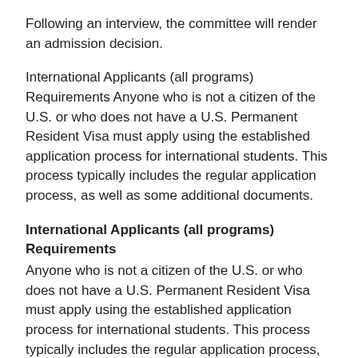Following an interview, the committee will render an admission decision.
International Applicants (all programs) Requirements Anyone who is not a citizen of the U.S. or who does not have a U.S. Permanent Resident Visa must apply using the established application process for international students. This process typically includes the regular application process, as well as some additional documents.
International Applicants (all programs) Requirements
Anyone who is not a citizen of the U.S. or who does not have a U.S. Permanent Resident Visa must apply using the established application process for international students. This process typically includes the regular application process, as well as some additional documents: